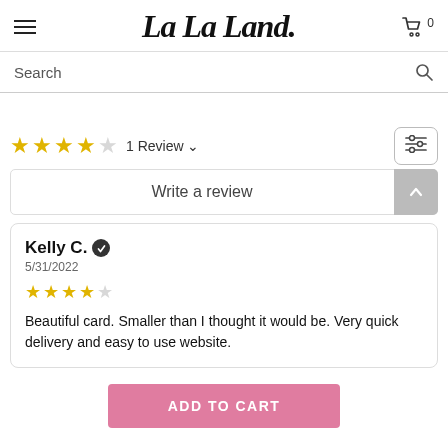La La Land
Search
1 Review
Write a review
Kelly C. 5/31/2022 Beautiful card. Smaller than I thought it would be. Very quick delivery and easy to use website.
ADD TO CART